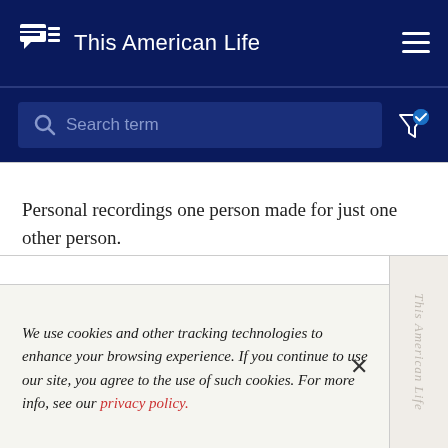This American Life
[Figure (screenshot): Search bar with magnifying glass icon and placeholder text 'Search term', with a filter icon with checkmark on the right]
Personal recordings one person made for just one other person.
We use cookies and other tracking technologies to enhance your browsing experience. If you continue to use our site, you agree to the use of such cookies. For more info, see our privacy policy.